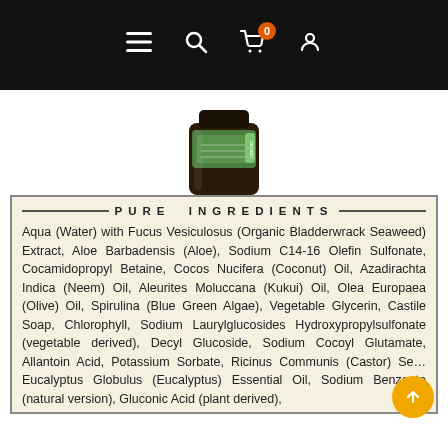Navigation bar with menu, search, cart (0), and user icons
[Figure (photo): Bottom portion of a product bottle with green label, dark glass jar]
PURE INGREDIENTS
Aqua (Water) with Fucus Vesiculosus (Organic Bladderwrack Seaweed) Extract, Aloe Barbadensis (Aloe), Sodium C14-16 Olefin Sulfonate, Cocamidopropyl Betaine, Cocos Nucifera (Coconut) Oil, Azadirachta Indica (Neem) Oil, Aleurites Moluccana (Kukui) Oil, Olea Europaea (Olive) Oil, Spirulina (Blue Green Algae), Vegetable Glycerin, Castile Soap, Chlorophyll, Sodium Laurylglucosides Hydroxypropylsulfonate (vegetable derived), Decyl Glucoside, Sodium Cocoyl Glutamate, Allantoin Acid, Potassium Sorbate, Ricinus Communis (Castor) Seed, Eucalyptus Globulus (Eucalyptus) Essential Oil, Sodium Benzoate (natural version), Gluconic Acid (plant derived),